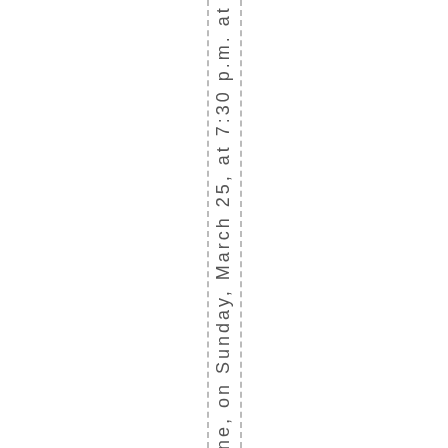st One, on Sunday, March 25, at 7:30 p.m. at